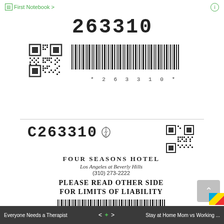First Notebook >
[Figure (other): First ticket label with number 263310, QR code, and barcode. Text reads: * 2 6 3 3 1 0 *]
[Figure (other): Second ticket label for Four Seasons Hotel Los Angeles at Beverly Hills. ID: C263310, phone (310) 273-2222, QR code, barcode. Text reads: * C 2 6 3 3 1 0 *. Notice: PLEASE READ OTHER SIDE FOR LIMITS OF LIABILITY]
Everyone Needs a Therapist    < > Stay at Home Mom vs Working ...